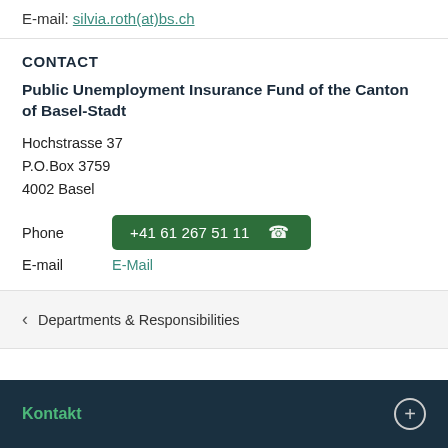E-mail: silvia.roth(at)bs.ch
CONTACT
Public Unemployment Insurance Fund of the Canton of Basel-Stadt
Hochstrasse 37
P.O.Box 3759
4002 Basel
Phone   +41 61 267 51 11
E-mail   E-Mail
< Departments & Responsibilities
Kontakt